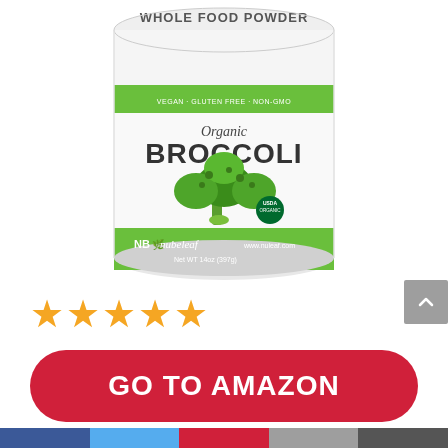[Figure (photo): Nubeleaf Organic Broccoli Whole Food Powder product container. White cylindrical tub with green label band. Label reads: WHOLE FOOD POWDER, VEGAN GLUTEN FREE NON-GMO, Organic BROCCOLI, shows broccoli photo and USDA Organic seal, NB nubeleaf logo, www.nuleaf.com, Net WT 14oz (397g).]
[Figure (other): Five gold/yellow star rating icons indicating 5-star rating]
[Figure (other): Gray scroll-to-top arrow button in upper right area]
GO TO AMAZON
Amazon.com